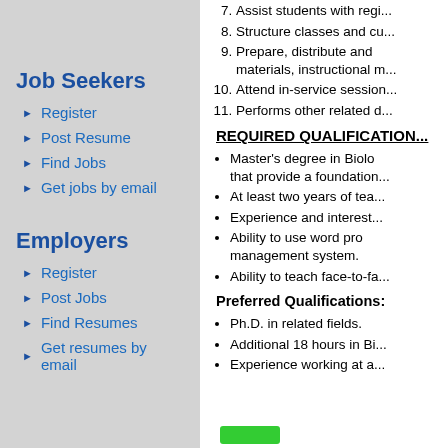Job Seekers
Register
Post Resume
Find Jobs
Get jobs by email
Employers
Register
Post Jobs
Find Resumes
Get resumes by email
7. Assist students with regi...
8. Structure classes and cu...
9. Prepare, distribute and... materials, instructional m...
10. Attend in-service session...
11. Performs other related d...
REQUIRED QUALIFICATION...
Master's degree in Biolo... that provide a foundation...
At least two years of tea...
Experience and interest...
Ability to use word pr... management system.
Ability to teach face-to-fa...
Preferred Qualifications:
Ph.D. in related fields.
Additional 18 hours in Bi...
Experience working at a...